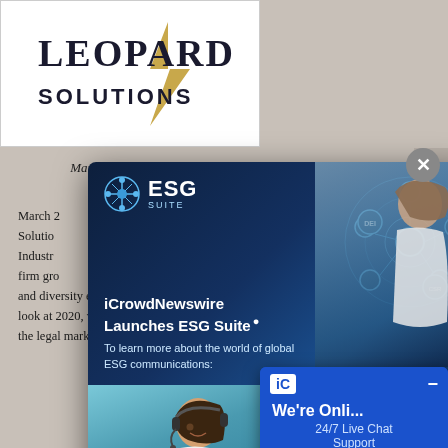[Figure (logo): Leopard Solutions logo with stylized lightning bolt, text LEOPARD above SOLUTIONS]
Many law firms have faced difficulties during the pandemic due to financial stress and remote hiring.
March 2021... Leopard Solutions... legal industry... firm growth... and diversity efforts... look at 2020, which changed the legal market, due to the COVID-19 pandemic
[Figure (screenshot): ESG Suite popup overlay showing iCrowdNewswire Launches ESG Suite advertisement with network globe graphic and businesswoman, plus headset customer service woman, and live chat widget]
iCrowdNewswire Launches ESG Suite
To learn more about the world of global ESG communications:
We're Onli... 24/7 Live Chat Support
Chat no...